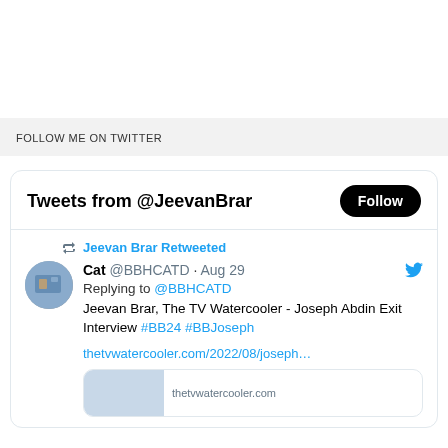FOLLOW ME ON TWITTER
[Figure (screenshot): Twitter widget showing Tweets from @JeevanBrar with a Follow button. Contains a retweet by Jeevan Brar of a tweet by Cat @BBHCATD on Aug 29, replying to @BBHCATD, with text: Jeevan Brar, The TV Watercooler - Joseph Abdin Exit Interview #BB24 #BBJoseph, and a link preview for thetvwatercooler.com/2022/08/joseph...]